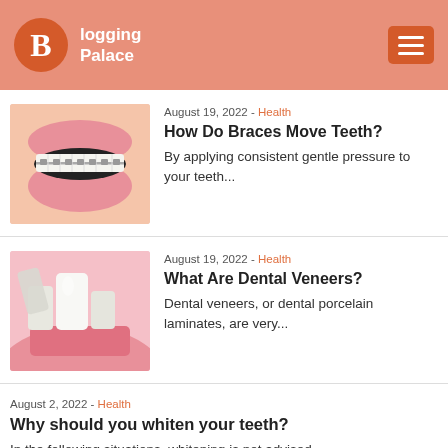Blogging Palace
[Figure (illustration): Close-up photo of a mouth with metal dental braces on teeth]
August 19, 2022 - Health
How Do Braces Move Teeth?
By applying consistent gentle pressure to your teeth...
[Figure (illustration): Illustration of dental veneers being placed on teeth with pink gums]
August 19, 2022 - Health
What Are Dental Veneers?
Dental veneers, or dental porcelain laminates, are very...
August 2, 2022 - Health
Why should you whiten your teeth?
In the following situations, whitening is not advised...